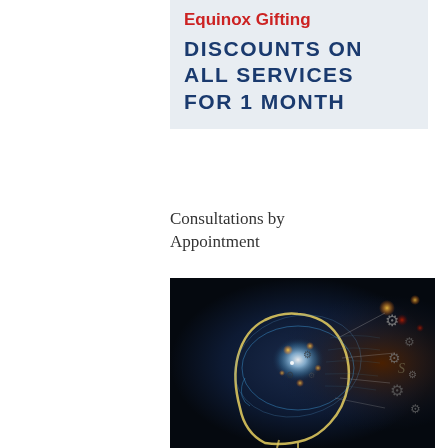Equinox Gifting
DISCOUNTS ON ALL SERVICES FOR 1 MONTH
Consultations by Appointment
[Figure (illustration): Digital art illustration of a human head in profile with glowing neural/cosmic elements inside the brain area, gears, and energy patterns on a dark blue/purple and brown background.]